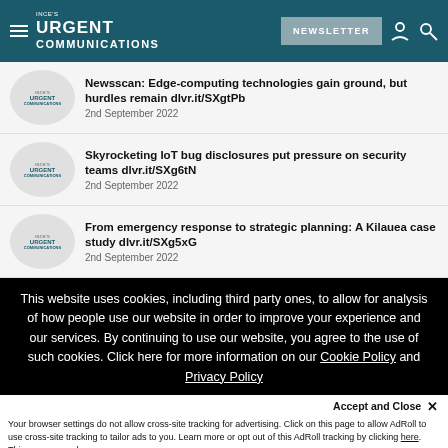INCE's URGENT COMMUNICATIONS | NEWSLETTER
Newsscan: Edge-computing technologies gain ground, but hurdles remain dlvr.it/SXgtPb
2nd September 2022
Skyrocketing IoT bug disclosures put pressure on security teams dlvr.it/SXg6tN
2nd September 2022
From emergency response to strategic planning: A Kilauea case study dlvr.it/SXg5xG
2nd September 2022
This website uses cookies, including third party ones, to allow for analysis of how people use our website in order to improve your experience and our services. By continuing to use our website, you agree to the use of such cookies. Click here for more information on our Cookie Policy and Privacy Policy
Accept and Close ✕
Your browser settings do not allow cross-site tracking for advertising. Click on this page to allow AdRoll to use cross-site tracking to tailor ads to you. Learn more or opt out of this AdRoll tracking by clicking here. This message only appears once.